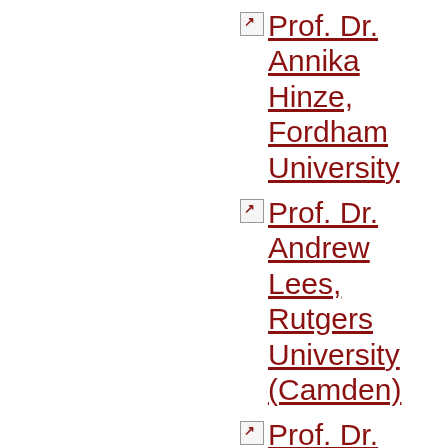Prof. Dr. Annika Hinze, Fordham University
Prof. Dr. Andrew Lees, Rutgers University (Camden)
Prof. Dr. John Maciuika, City University of New York
Prof. Dr. Peter Marcuse, Columbia…